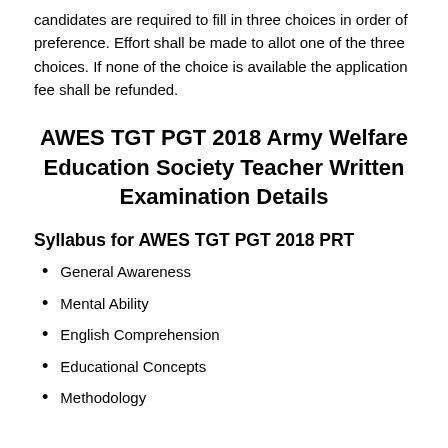candidates are required to fill in three choices in order of preference. Effort shall be made to allot one of the three choices. If none of the choice is available the application fee shall be refunded.
AWES TGT PGT 2018 Army Welfare Education Society Teacher Written Examination Details
Syllabus for AWES TGT PGT 2018 PRT
General Awareness
Mental Ability
English Comprehension
Educational Concepts
Methodology